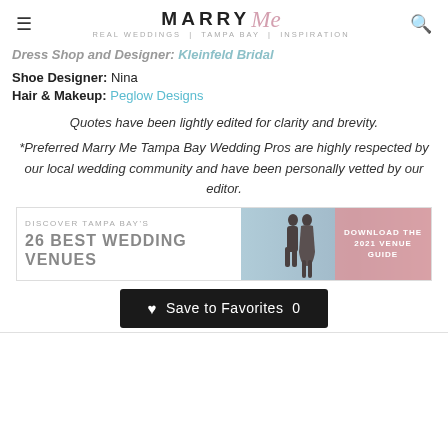MARRY Me Tampa Bay
Dress Shop and Designer: Kleinfeld Bridal
Shoe Designer: Nina
Hair & Makeup: Peglow Designs
Quotes have been lightly edited for clarity and brevity.
*Preferred Marry Me Tampa Bay Wedding Pros are highly respected by our local wedding community and have been personally vetted by our editor.
[Figure (infographic): Advertisement banner for 26 Best Wedding Venues in Tampa Bay with a couple silhouette and pink download button overlay]
Save to Favorites 0